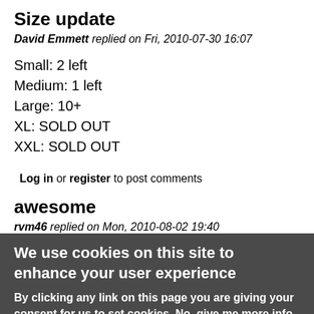Size update
David Emmett replied on Fri, 2010-07-30 16:07
Small: 2 left
Medium: 1 left
Large: 10+
XL: SOLD OUT
XXL: SOLD OUT
Log in or register to post comments
awesome
rvm46 replied on Mon, 2010-08-02 19:40
We use cookies on this site to enhance your user experience
By clicking any link on this page you are giving your consent for us to set cookies. No, give me more info
OK, I agree